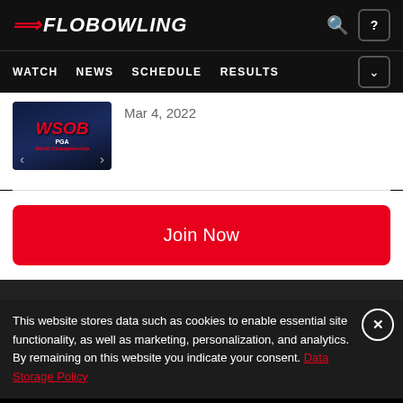FLOBOWLING
WATCH NEWS SCHEDULE RESULTS
Mar 4, 2022
Join Now
This website stores data such as cookies to enable essential site functionality, as well as marketing, personalization, and analytics. By remaining on this website you indicate your consent. Data Storage Policy